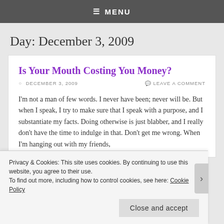≡ MENU
Day: December 3, 2009
Is Your Mouth Costing You Money?
DECEMBER 3, 2009   LEAVE A COMMENT
I'm not a man of few words. I never have been; never will be. But when I speak, I try to make sure that I speak with a purpose, and I substantiate my facts. Doing otherwise is just blabber, and I really don't have the time to indulge in that. Don't get me wrong. When I'm hanging out with my friends,
Privacy & Cookies: This site uses cookies. By continuing to use this website, you agree to their use.
To find out more, including how to control cookies, see here: Cookie Policy
Close and accept